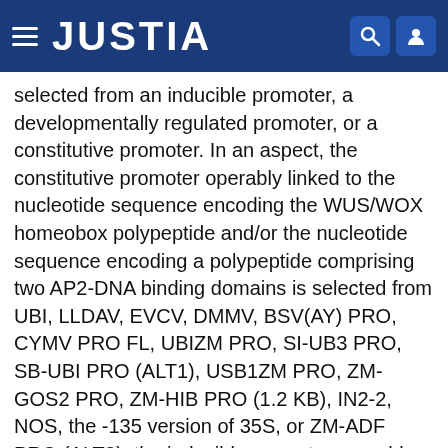JUSTIA
selected from an inducible promoter, a developmentally regulated promoter, or a constitutive promoter. In an aspect, the constitutive promoter operably linked to the nucleotide sequence encoding the WUS/WOX homeobox polypeptide and/or the nucleotide sequence encoding a polypeptide comprising two AP2-DNA binding domains is selected from UBI, LLDAV, EVCV, DMMV, BSV(AY) PRO, CYMV PRO FL, UBIZM PRO, SI-UB3 PRO, SB-UBI PRO (ALT1), USB1ZM PRO, ZM-GOS2 PRO, ZM-HIB PRO (1.2 KB), IN2-2, NOS, the -135 version of 35S, or ZM-ADF PRO (ALT2); the inducible promoter operably linked to the nucleotide sequence encoding the WUS/WOX homeobox polypeptide and/or the nucleotide sequence encoding a polypeptide comprising two AP2-DNA binding domains is selected from AXIG1, DR5, XVE, GLB1, OLE, LTP2, HSP17.7, HSP26, HSP18A, or promoters activated by tetracycline, ethamethsulfuron or chlorsulfuron; and the